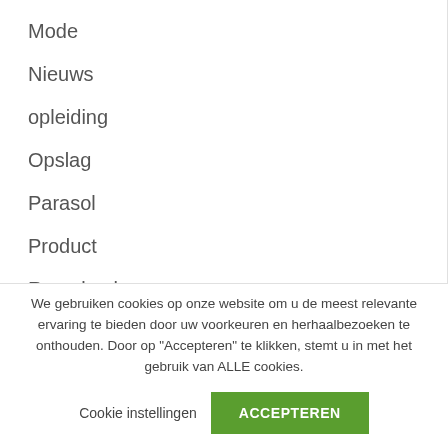Mode
Nieuws
opleiding
Opslag
Parasol
Product
Raambeslag
Rijbewijs
Schoenen
We gebruiken cookies op onze website om u de meest relevante ervaring te bieden door uw voorkeuren en herhaalbezoeken te onthouden. Door op "Accepteren" te klikken, stemt u in met het gebruik van ALLE cookies.
Cookie instellingen
ACCEPTEREN